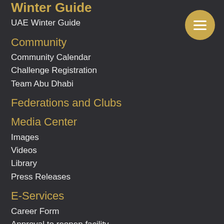Winter Guide
UAE Winter Guide
Community
Community Calendar
Challenge Registration
Team Abu Dhabi
Federations and Clubs
Media Center
Images
Videos
Library
Press Releases
E-Services
Career Form
Approval to reopen facility
Investor Form
Registration